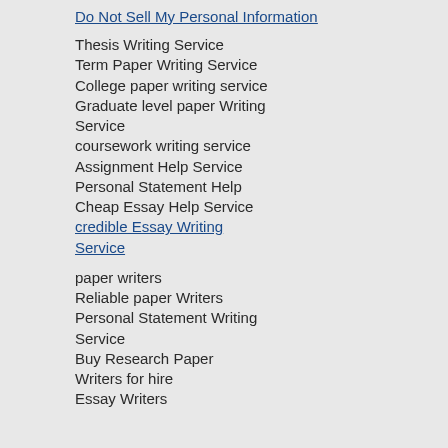Do Not Sell My Personal Information
Thesis Writing Service
Term Paper Writing Service
College paper writing service
Graduate level paper Writing Service
coursework writing service
Assignment Help Service
Personal Statement Help
Cheap Essay Help Service
credible Essay Writing Service
paper writers
Reliable paper Writers
Personal Statement Writing Service
Buy Research Paper
Writers for hire
Essay Writers